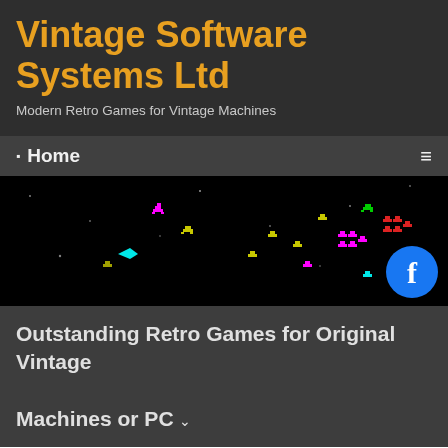Vintage Software Systems Ltd
Modern Retro Games for Vintage Machines
Home
[Figure (screenshot): Black background screenshot of a retro space invaders-style game showing colorful alien sprites (magenta, yellow, cyan, red, green) scattered across the screen with a Facebook button overlay in the bottom right]
Outstanding Retro Games for Original Vintage Machines or PC
Outstanding Modern Retro Games to